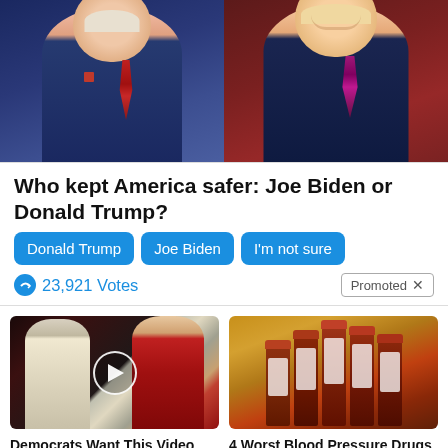[Figure (photo): Side-by-side photos of Joe Biden (left, dark blue background) and Donald Trump (right, dark red background)]
Who kept America safer: Joe Biden or Donald Trump?
Donald Trump | Joe Biden | I'm not sure
23,921 Votes   Promoted X
[Figure (photo): Video thumbnail of two people at a rally with play button overlay]
Democrats Want This Video Destroyed — Watch Now Before It's Banned
186,039
[Figure (photo): Photo of multiple prescription medicine bottles lined up]
4 Worst Blood Pressure Drugs (#2 Is Scary)
41,608